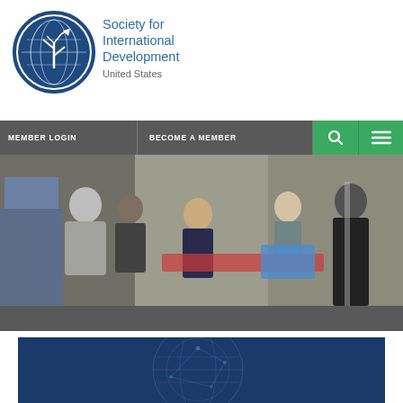[Figure (logo): Society for International Development logo — globe with tree and arrow motif in dark blue circle]
Society for International Development
United States
MEMBER LOGIN   BECOME A MEMBER
[Figure (photo): A networking/career fair scene with multiple people in business attire speaking at tables in a large room]
[Figure (photo): A dark blue panel with a faint globe/network graphic watermark]